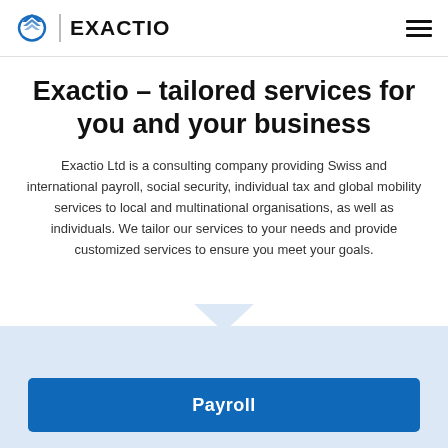EXACTIO
Exactio – tailored services for you and your business
Exactio Ltd is a consulting company providing Swiss and international payroll, social security, individual tax and global mobility services to local and multinational organisations, as well as individuals. We tailor our services to your needs and provide customized services to ensure you meet your goals.
[Figure (other): Light blue background section with downward pointing chevron arrow and Payroll button]
Payroll